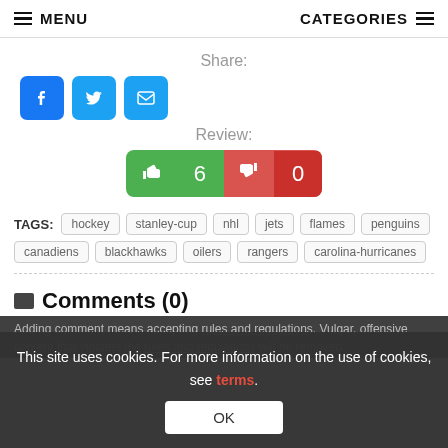MENU    CATEGORIES
Share:
[Figure (other): Social share icons: Facebook (blue), Twitter (blue), Email (blue)]
Review:
[Figure (other): Vote buttons: thumbs up green with count 6, thumbs down red with count 0]
TAGS: hockey  stanley-cup  nhl  jets  flames  penguins  canadiens  blackhawks  oilers  rangers  carolina-hurricanes
Comments (0)
Adding comment means accepting rules and regulations. Vulgar, offensive content that violates the rules and regulations will be removed.
This site uses cookies. For more information on the use of cookies, see terms.
OK